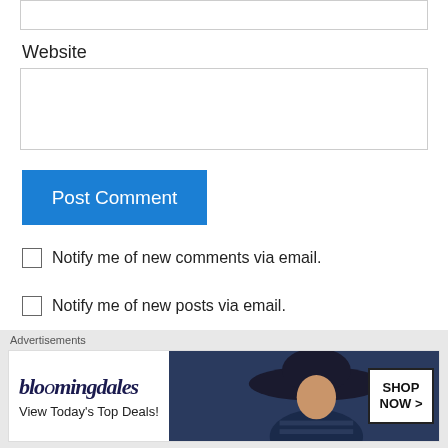Website
Post Comment
Notify me of new comments via email.
Notify me of new posts via email.
Sue erdle on May 5, 2013 at 9:03 pm
I really enjoyed your work on the Knox family!
[Figure (screenshot): Bloomingdale's advertisement banner: logo text 'bloomingdales', tagline 'View Today's Top Deals!', photo of woman in wide-brim hat, SHOP NOW button]
Advertisements